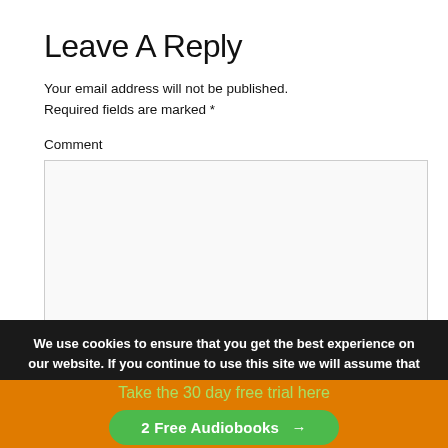Leave A Reply
Your email address will not be published. Required fields are marked *
Comment
[Comment text area]
We use cookies to ensure that you get the best experience on our website. If you continue to use this site we will assume that
Take the 30 day free trial here
2 Free Audiobooks →